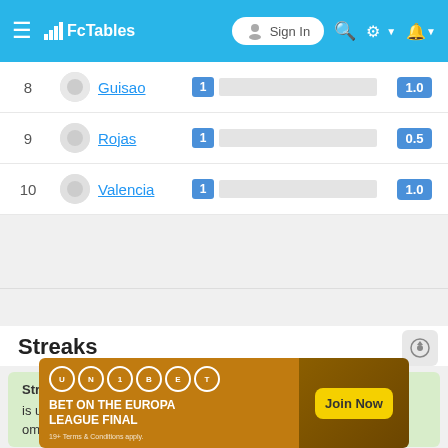FcTables — Sign In
| Rank | Player | Count | Score |
| --- | --- | --- | --- |
| 8 | Guisao | 1 | 1.0 |
| 9 | Rojas | 1 | 0.5 |
| 10 | Valencia | 1 | 1.0 |
Streaks
Streaks for for all matches played in Liga Postobon
is undefeated from 14 matches in a row.
om recent 13 matches in a row can't win a match.
[Figure (other): Unibet advertisement banner — BET ON THE EUROPA LEAGUE FINAL — Join Now. 19+ Terms & Conditions apply.]